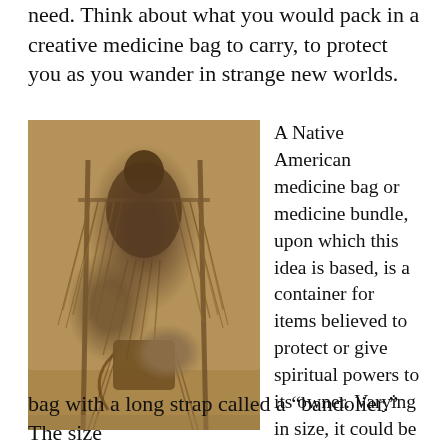need. Think about what you would pack in a creative medicine bag to carry, to protect you as you wander in strange new worlds.
[Figure (photo): A sepia-toned historical photograph of a Native American medicine bundle or medicine bag display, showing leather bags and fringed items arranged on a frame or stand.]
A Native American medicine bag or medicine bundle, upon which this idea is based, is a container for items believed to protect or give spiritual powers to its owner. Varying in size, it could be small enough to wear around the neck, or it could be a large
bag with a long strap called a “bandolier.” The size